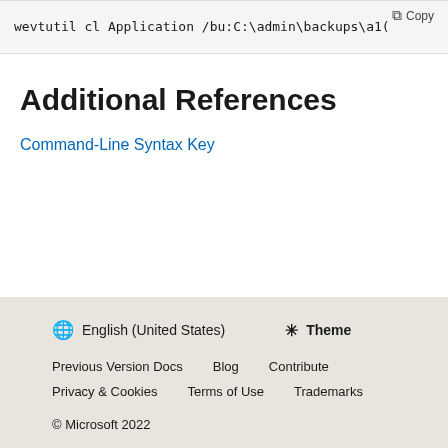[Figure (screenshot): Code block with copy button showing: wevtutil cl Application /bu:C:\admin\backups\a1(]
Additional References
Command-Line Syntax Key
English (United States)  Theme
Previous Version Docs  Blog  Contribute
Privacy & Cookies  Terms of Use  Trademarks
© Microsoft 2022